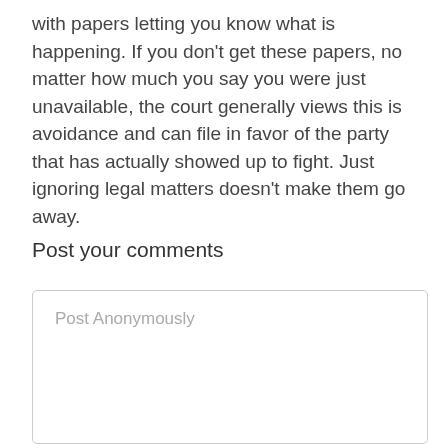with papers letting you know what is happening. If you don't get these papers, no matter how much you say you were just unavailable, the court generally views this is avoidance and can file in favor of the party that has actually showed up to fight. Just ignoring legal matters doesn't make them go away.
Post your comments